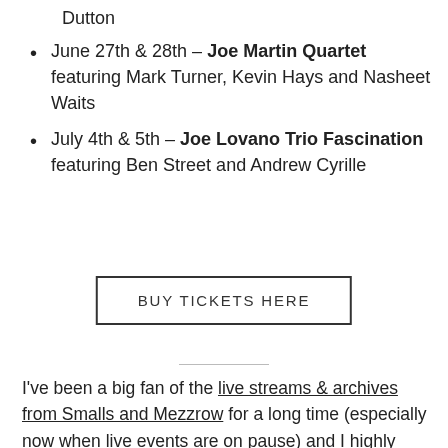Dutton
June 27th & 28th – Joe Martin Quartet featuring Mark Turner, Kevin Hays and Nasheet Waits
July 4th & 5th – Joe Lovano Trio Fascination featuring Ben Street and Andrew Cyrille
BUY TICKETS HERE
I've been a big fan of the live streams & archives from Smalls and Mezzrow for a long time (especially now when live events are on pause) and I highly recommend supporting them if you